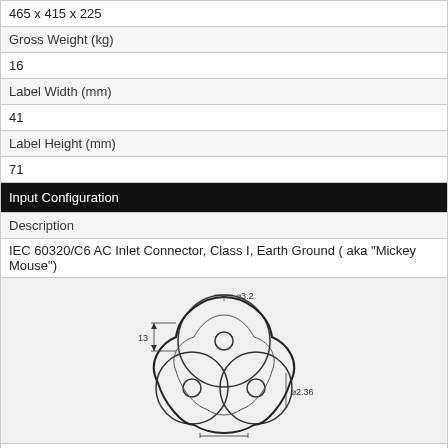465 x 415 x 225
Gross Weight (kg)
16
Label Width (mm)
41
Label Height (mm)
71
Input Configuration
Description
IEC 60320/C6 AC Inlet Connector, Class I, Earth Ground ( aka "Mickey Mouse")
[Figure (engineering-diagram): Technical drawing of IEC 60320/C6 AC inlet connector (Mickey Mouse shape) showing front view with dimensions: diameter 3.2, height 13, width 10 and 18, diameter 2.36]
Mates with IEC 60320/C5 Plug